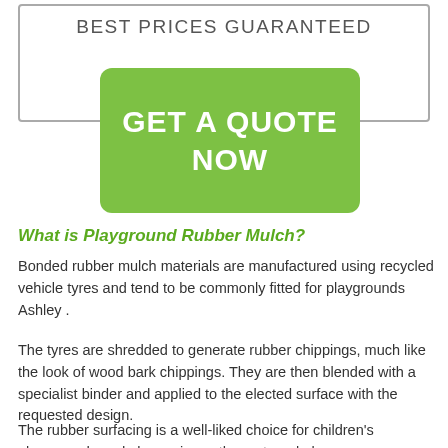BEST PRICES GUARANTEED
[Figure (other): Green call-to-action button with text GET A QUOTE NOW]
What is Playground Rubber Mulch?
Bonded rubber mulch materials are manufactured using recycled vehicle tyres and tend to be commonly fitted for playgrounds Ashley .
The tyres are shredded to generate rubber chippings, much like the look of wood bark chippings. They are then blended with a specialist binder and applied to the elected surface with the requested design.
The rubber surfacing is a well-liked choice for children's playgrounds and also various other external places.
To find out...